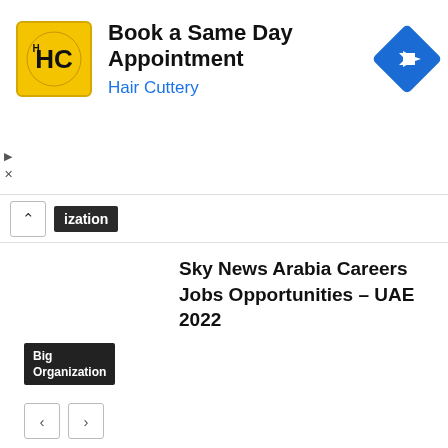[Figure (screenshot): Hair Cuttery advertisement banner with yellow logo, 'Book a Same Day Appointment' text, 'Hair Cuttery' subtitle in blue, and a blue arrow navigation icon on the right.]
ization
Sky News Arabia Careers Jobs Opportunities – UAE 2022
Big Organization
LEAVE A REPLY
Comment: